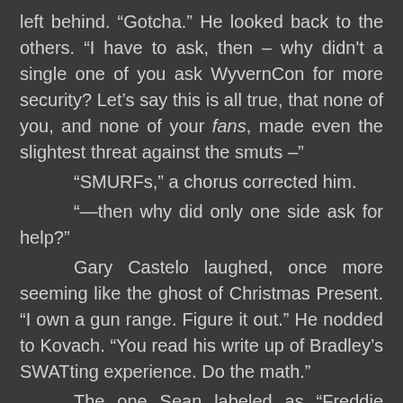left behind. “Gotcha.” He looked back to the others. “I have to ask, then – why didn't a single one of you ask WyvernCon for more security? Let’s say this is all true, that none of you, and none of your fans, made even the slightest threat against the smuts –”
“SMURFs,” a chorus corrected him.
“—then why did only one side ask for help?”
Gary Castelo laughed, once more seeming like the ghost of Christmas Present. “I own a gun range. Figure it out.” He nodded to Kovach. “You read his write up of Bradley’s SWATting experience. Do the math.”
The one Sean labeled as “Freddie Mercury” said, “I’m Werner Y. Jefferson. In addition to being an author, I’m a gunsmith, and I make my own swords. As Gary says, do the